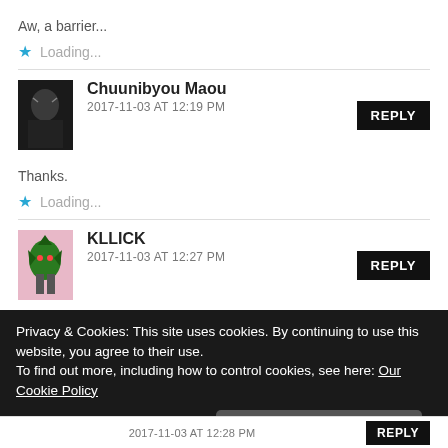Aw, a barrier...
★ Loading...
Chuunibyou Maou
2017-11-03 AT 12:19 PM
Thanks.
★ Loading...
KLLICK
2017-11-03 AT 12:27 PM
Privacy & Cookies: This site uses cookies. By continuing to use this website, you agree to their use.
To find out more, including how to control cookies, see here: Our Cookie Policy
Close and accept
2017-11-03 AT 12:28 PM